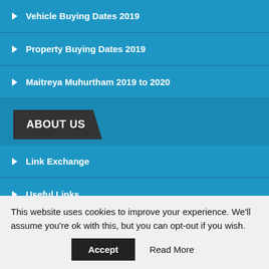Vehicle Buying Dates 2019
Property Buying Dates 2019
Maitreya Muhurtham 2019 to 2020
ABOUT US
Link Exchange
Useful Links
Disclaimer
Privacy Policy
Contact Us
This website uses cookies to improve your experience. We'll assume you're ok with this, but you can opt-out if you wish.
Accept  Read More